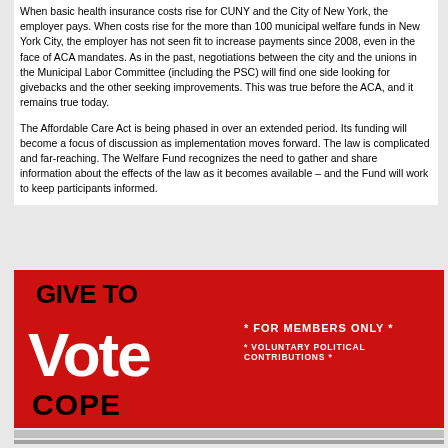When basic health insurance costs rise for CUNY and the City of New York, the employer pays. When costs rise for the more than 100 municipal welfare funds in New York City, the employer has not seen fit to increase payments since 2008, even in the face of ACA mandates. As in the past, negotiations between the city and the unions in the Municipal Labor Committee (including the PSC) will find one side looking for givebacks and the other seeking improvements. This was true before the ACA, and it remains true today.
The Affordable Care Act is being phased in over an extended period. Its funding will become a focus of discussion as implementation moves forward. The law is complicated and far-reaching. The Welfare Fund recognizes the need to gather and share information about the effects of the law as it becomes available – and the Fund will work to keep participants informed.
[Figure (infographic): Red advertisement banner reading 'GIVE TO Vote COPE' in large black and white text on red background, with text '* FOR MEMBERS ONLY *' and '* VOLUNTARY POLITICAL CONTRIBUTIONS *' on the right side in white.]